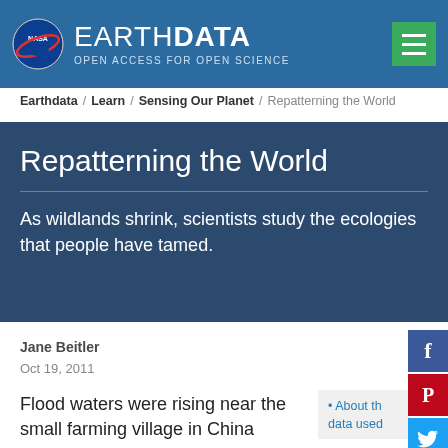NASA EARTHDATA OPEN ACCESS FOR OPEN SCIENCE
Earthdata / Learn / Sensing Our Planet / Repatterning the World
Repatterning the World
As wildlands shrink, scientists study the ecologies that people have tamed.
Jane Beitler
Oct 19, 2011
Flood waters were rising near the small farming village in China
About the data used